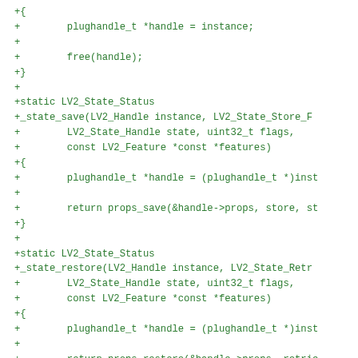+{
+        plughandle_t *handle = instance;
+
+        free(handle);
+}
+
+static LV2_State_Status
+_state_save(LV2_Handle instance, LV2_State_Store_F
+        LV2_State_Handle state, uint32_t flags,
+        const LV2_Feature *const *features)
+{
+        plughandle_t *handle = (plughandle_t *)inst
+
+        return props_save(&handle->props, store, st
+}
+
+static LV2_State_Status
+_state_restore(LV2_Handle instance, LV2_State_Retr
+        LV2_State_Handle state, uint32_t flags,
+        const LV2_Feature *const *features)
+{
+        plughandle_t *handle = (plughandle_t *)inst
+
+        return props_restore(&handle->props, retrie
+}
+
+LV2_State_Interface state_iface = {
+        .save = _state_save,
+        .restore = _state_restore
+};